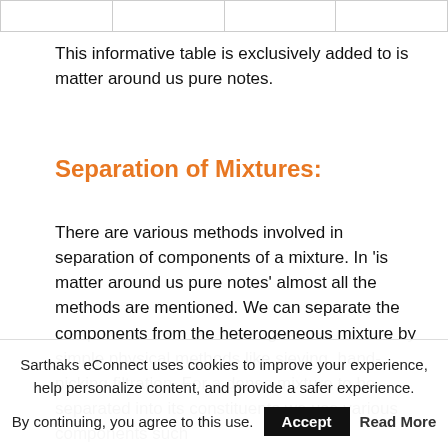|  |
This informative table is exclusively added to is matter around us pure notes.
Separation of Mixtures:
There are various methods involved in separation of components of a mixture. In ‘is matter around us pure notes’ almost all the methods are mentioned. We can separate the components from the heterogeneous mixture by simple physical methods like sieving, hand-picking filtration. For a dense mixture to be separated into its constituents we use various components such
Sarthaks eConnect uses cookies to improve your experience, help personalize content, and provide a safer experience. By continuing, you agree to this use. Accept Read More